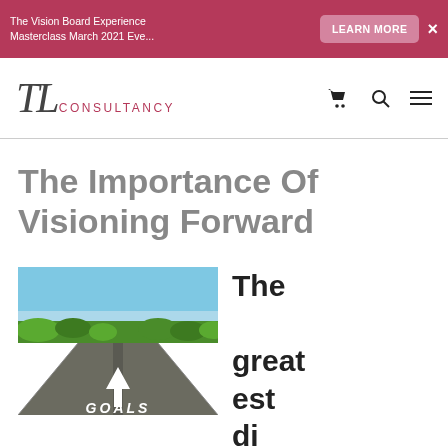The Vision Board Experience Masterclass March 2021 Eve... LEARN MORE ×
[Figure (logo): TL Consultancy logo with stylized TL lettering and CONSULTANCY text, plus cart, search, and hamburger menu icons]
The Importance Of Visioning Forward
[Figure (photo): A straight road in a flat landscape with an upward arrow painted on it and the word GOALS, under a blue sky with bushes on the sides]
The greatest